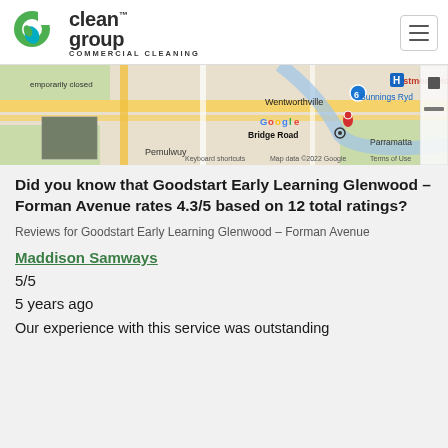[Figure (logo): Clean Group Commercial Cleaning logo with green and teal swirl icon]
[Figure (map): Google Maps screenshot showing Westmead Hospital area, Wentworthville, Pemulwuy, Bunnings Ryde, Bridge Road, Parramatta area in Sydney. Map data 2022 Google.]
Did you know that Goodstart Early Learning Glenwood – Forman Avenue rates 4.3/5 based on 12 total ratings?
Reviews for Goodstart Early Learning Glenwood – Forman Avenue
Maddison Samways
5/5
5 years ago
Our experience with this service was outstanding